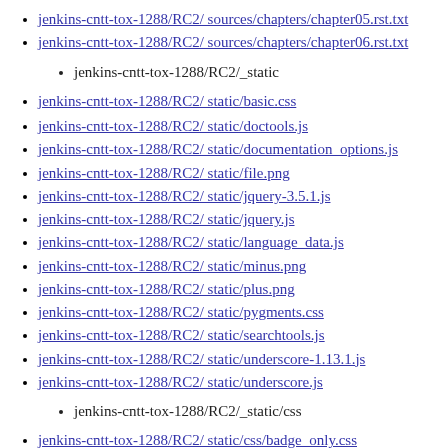jenkins-cntt-tox-1288/RC2/_sources/chapters/chapter05.rst.txt
jenkins-cntt-tox-1288/RC2/_sources/chapters/chapter06.rst.txt
jenkins-cntt-tox-1288/RC2/_static
jenkins-cntt-tox-1288/RC2/_static/basic.css
jenkins-cntt-tox-1288/RC2/_static/doctools.js
jenkins-cntt-tox-1288/RC2/_static/documentation_options.js
jenkins-cntt-tox-1288/RC2/_static/file.png
jenkins-cntt-tox-1288/RC2/_static/jquery-3.5.1.js
jenkins-cntt-tox-1288/RC2/_static/jquery.js
jenkins-cntt-tox-1288/RC2/_static/language_data.js
jenkins-cntt-tox-1288/RC2/_static/minus.png
jenkins-cntt-tox-1288/RC2/_static/plus.png
jenkins-cntt-tox-1288/RC2/_static/pygments.css
jenkins-cntt-tox-1288/RC2/_static/searchtools.js
jenkins-cntt-tox-1288/RC2/_static/underscore-1.13.1.js
jenkins-cntt-tox-1288/RC2/_static/underscore.js
jenkins-cntt-tox-1288/RC2/_static/css
jenkins-cntt-tox-1288/RC2/_static/css/badge_only.css
jenkins-cntt-tox-1288/RC2/_static/css/theme.css
jenkins-cntt-tox-1288/RC2/_static/css/fonts